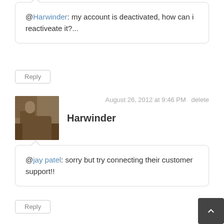@Harwinder: my account is deactivated, how can i reactiveate it?...
Reply
August 26, 2012 at 9:46 PM   delete
Harwinder
@jay patel: sorry but try connecting their customer support!!
Reply